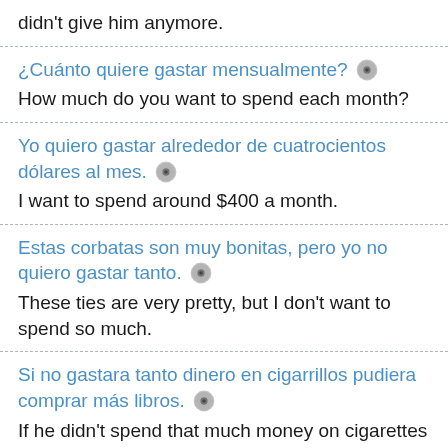didn't give him anymore.
¿Cuánto quiere gastar mensualmente? [audio] How much do you want to spend each month?
Yo quiero gastar alrededor de cuatrocientos dólares al mes. [audio] I want to spend around $400 a month.
Estas corbatas son muy bonitas, pero yo no quiero gastar tanto. [audio] These ties are very pretty, but I don't want to spend so much.
Si no gastara tanto dinero en cigarrillos pudiera comprar más libros. [audio] If he didn't spend that much money on cigarettes he would...